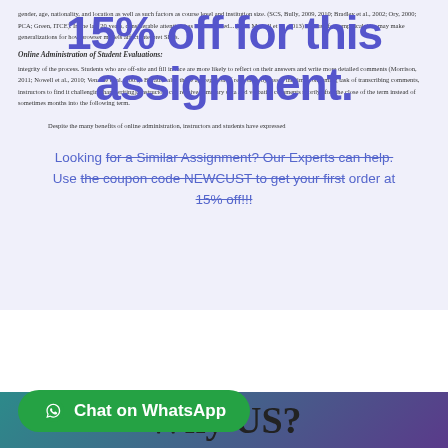[Figure (screenshot): A document page screenshot with a lavender background overlay showing academic text about online administration of student evaluations, partially obscured by a promotional overlay.]
15% off for this assignment.
Looking for a Similar Assignment? Our Experts can help. Use the coupon code NEWCUST to get your first order at 15% off!
Online Administration of Student Evaluations:
integrity of the process. Students who are off-site and fill in face are more likely to reflect on their answers and write more detailed comments (Morrison, 2011; Nowell et al., 2010; Venable et al., 2005). Because also those aggregation of responses bypasses the time-consuming task of transcribing comments, instructors to find it challenging handwriting), instructors can receive summary data and verbatim comments shortly after the close of the term instead of sometimes months into the following term.
Despite the many benefits of online administration, instructors and students have expressed
Why US?
[Figure (screenshot): WhatsApp chat button — green rounded pill button with WhatsApp icon and text 'Chat on WhatsApp']